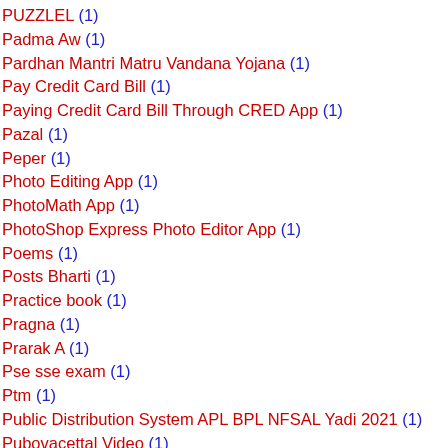PUZZLEL (1)
Padma Aw (1)
Pardhan Mantri Matru Vandana Yojana (1)
Pay Credit Card Bill (1)
Paying Credit Card Bill Through CRED App (1)
Pazal (1)
Peper (1)
Photo Editing App (1)
PhotoMath App (1)
PhotoShop Express Photo Editor App (1)
Poems (1)
Posts Bharti (1)
Practice book (1)
Pragna (1)
Prarak A (1)
Pse sse exam (1)
Ptm (1)
Public Distribution System APL BPL NFSAL Yadi 2021 (1)
Pubovacettal Video (1)